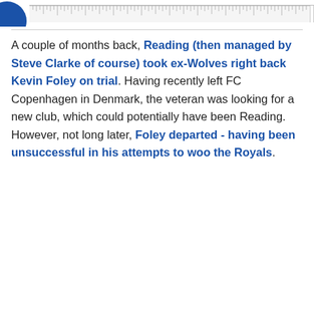[Figure (other): Partial blue circle icon on the left with a ruler/measurement bar extending to the right]
A couple of months back, Reading (then managed by Steve Clarke of course) took ex-Wolves right back Kevin Foley on trial. Having recently left FC Copenhagen in Denmark, the veteran was looking for a new club, which could potentially have been Reading. However, not long later, Foley departed - having been unsuccessful in his attempts to woo the Royals.